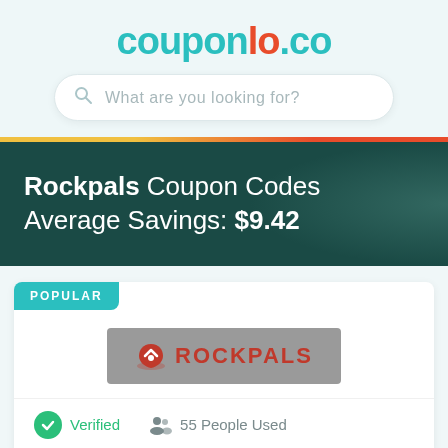[Figure (logo): couponlo.co website logo in teal and orange]
What are you looking for?
Rockpals Coupon Codes Average Savings: $9.42
POPULAR
[Figure (logo): Rockpals brand logo on grey background]
Verified  55 People Used